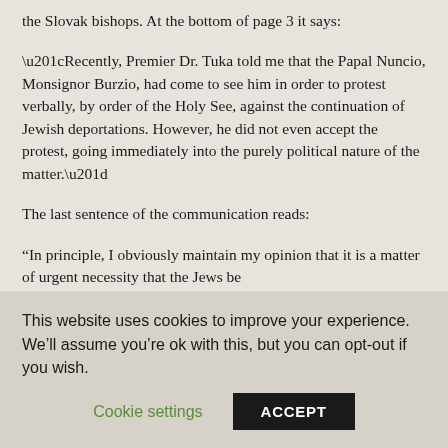the Slovak bishops. At the bottom of page 3 it says:
“Recently, Premier Dr. Tuka told me that the Papal Nuncio, Monsignor Burzio, had come to see him in order to protest verbally, by order of the Holy See, against the continuation of Jewish deportations. However, he did not even accept the protest, going immediately into the purely political nature of the matter.”
The last sentence of the communication reads:
“In principle, I obviously maintain my opinion that it is a matter of urgent necessity that the Jews be
This website uses cookies to improve your experience. We’ll assume you’re ok with this, but you can opt-out if you wish.
Cookie settings    ACCEPT